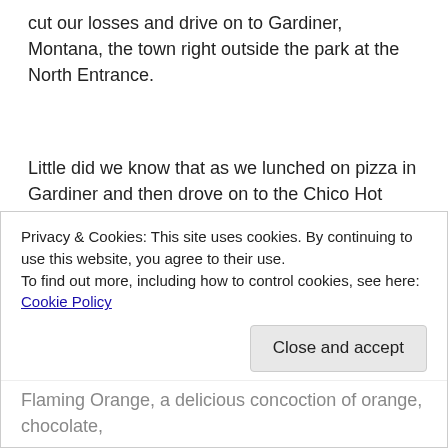cut our losses and drive on to Gardiner, Montana, the town right outside the park at the North Entrance.
Little did we know that as we lunched on pizza in Gardiner and then drove on to the Chico Hot Springs Resort in Pray, Montana, how very lucky we would be. Chico, a beautiful 122-year old resort in Paradise Valley, is also where my friend CLK has worked for decades. Years ago, she came out after college to work for nine months and she never left. I visited her in 1998, and she
Privacy & Cookies: This site uses cookies. By continuing to use this website, you agree to their use.
To find out more, including how to control cookies, see here: Cookie Policy
Close and accept
Flaming Orange, a delicious concoction of orange, chocolate,